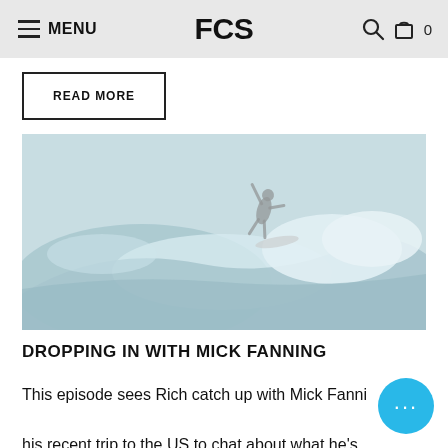MENU | FCS | 🔍 🛒 0
READ MORE
[Figure (photo): Surfer performing an aerial maneuver above a large wave, black and white tonal surf photography with teal/blue tint]
DROPPING IN WITH MICK FANNING
This episode sees Rich catch up with Mick Fanning after his recent trip to the US to chat about what he's been riding, the development of his iconic fin template and how